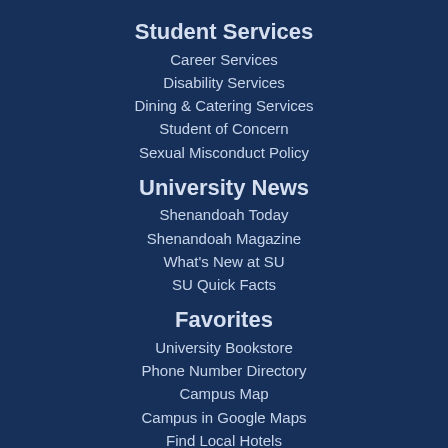Student Services
Career Services
Disability Services
Dining & Catering Services
Student of Concern
Sexual Misconduct Policy
University News
Shenandoah Today
Shenandoah Magazine
What's New at SU
SU Quick Facts
Favorites
University Bookstore
Phone Number Directory
Campus Map
Campus in Google Maps
Find Local Hotels
Employment Opportunities
Events Calendar
Give to Shenandoah